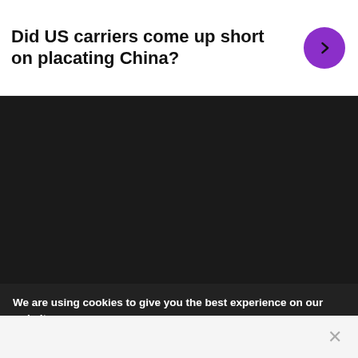Did US carriers come up short on placating China?
[Figure (other): Dark/black panel area representing a video or image placeholder]
We are using cookies to give you the best experience on our website.
You can find out more about which cookies we are using or switch them off in settings.